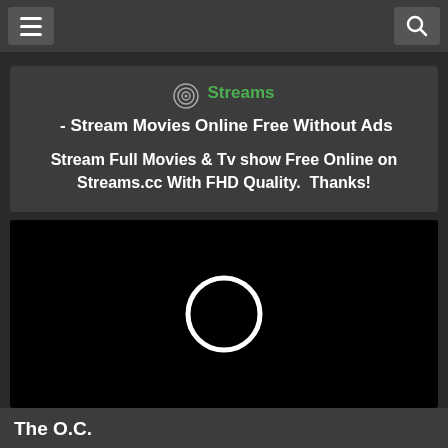≡  [search icon]
Streams - Stream Movies Online Free Without Ads
Stream Full Movies & Tv show Free Online on Streams.cc With FHD Quality.  Thanks!
[Figure (screenshot): Video player loading spinner — dark black rectangle with a white circle/ring in the center indicating loading state]
The O.C.